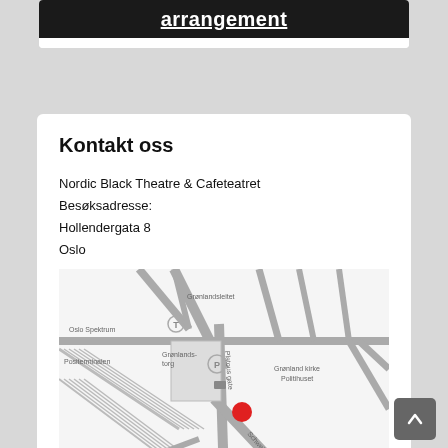[Figure (screenshot): Top banner image with white underlined text 'arrangement' on dark background]
Kontakt oss
Nordic Black Theatre & Cafeteatret
Besøksadresse:
Hollendergata 8
Oslo
[Figure (map): Street map showing Hollendergata 8 area in Oslo with red location dot. Labels include: Oslo Spektrum, Grønlandsleitet, Grønlandstorg, P (parking), Positerminalen, Platous gate, Grønland kirke, Politihuset, Schweigaardsgate, E 18, and a tram/bus icon.]
Postadresse: